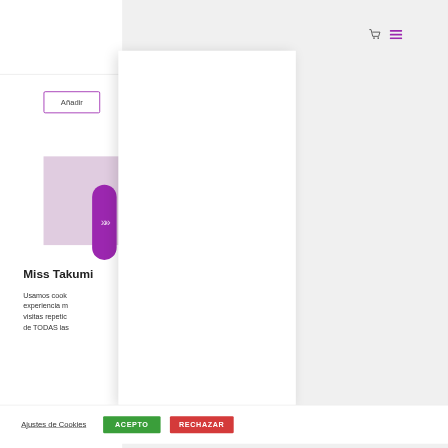[Figure (screenshot): Screenshot of a Spanish e-commerce website (Miss Takumi) showing: a white left panel with an 'Añadir' (Add) button in a purple border, a lavender/pink product image area with a purple pill-shaped arrow button containing chevron icons, a white modal/dropdown panel overlaying the right side, navigation icons (cart and hamburger menu in purple) at top right, a partially visible cookie consent banner at the bottom with text 'Miss Takumi', 'Usamos cook...', 'Ajustes de Cookies' link, green 'ACEPTO' button, and red 'RECHAZAR' button.]
Añadir
Miss Takumi
Usamos cook... experiencia m... visitas repetic... de TODAS las
Ajustes de Cookies
ACEPTO
RECHAZAR